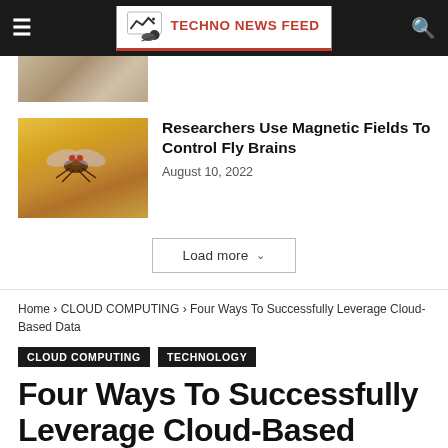TECHNO NEWS FEED
[Figure (photo): Partial view of a smartwatch or device on a surface, cropped at top]
[Figure (photo): Close-up photo of a fruit fly on a yellow surface]
Researchers Use Magnetic Fields To Control Fly Brains
August 10, 2022
Load more
Home › CLOUD COMPUTING › Four Ways To Successfully Leverage Cloud-Based Data
CLOUD COMPUTING   TECHNOLOGY
Four Ways To Successfully Leverage Cloud-Based Data